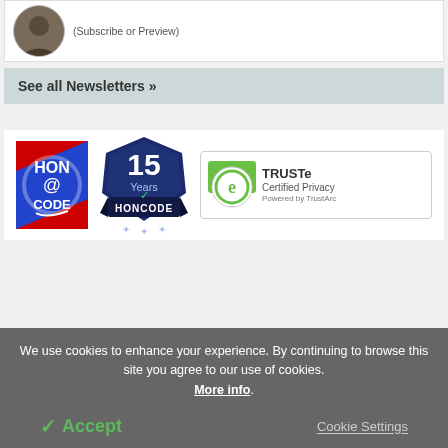(Subscribe or Preview)
See all Newsletters »
[Figure (logo): HON@CODE badge logo with red and blue background]
[Figure (logo): 15 Years HONCODE certification badge in dark blue]
[Figure (logo): TRUSTe Certified Privacy Powered by TrustArc badge]
We use cookies to enhance your experience. By continuing to browse this site you agree to our use of cookies. More info.
✓ Accept
Cookie Settings